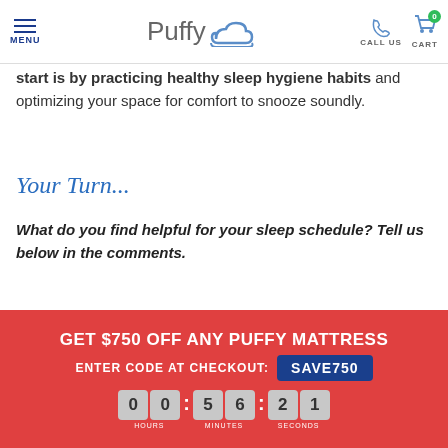Puffy — MENU | CALL US | CART
start is by practicing healthy sleep hygiene habits and optimizing your space for comfort to snooze soundly.
Your Turn...
What do you find helpful for your sleep schedule? Tell us below in the comments.
Choose Your Mattress
GET $750 OFF ANY PUFFY MATTRESS
ENTER CODE AT CHECKOUT: SAVE750
00:56:21
HOURS MINUTES SECONDS